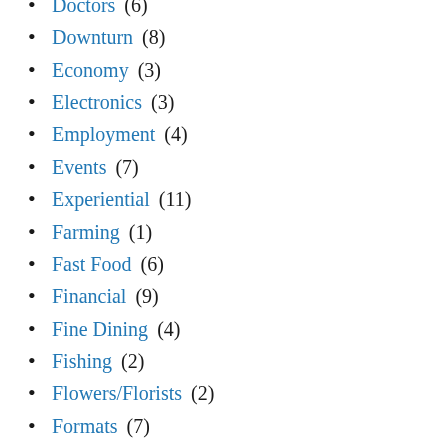Doctors (6)
Downturn (8)
Economy (3)
Electronics (3)
Employment (4)
Events (7)
Experiential (11)
Farming (1)
Fast Food (6)
Financial (9)
Fine Dining (4)
Fishing (2)
Flowers/Florists (2)
Formats (7)
Frequency (1)
Furniture (5)